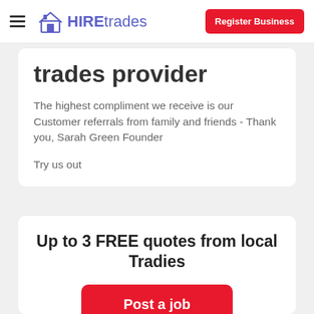HIREtrades | Register Business
trades provider
The highest compliment we receive is our Customer referrals from family and friends - Thank you, Sarah Green Founder
Try us out
Up to 3 FREE quotes from local Tradies
Post a job